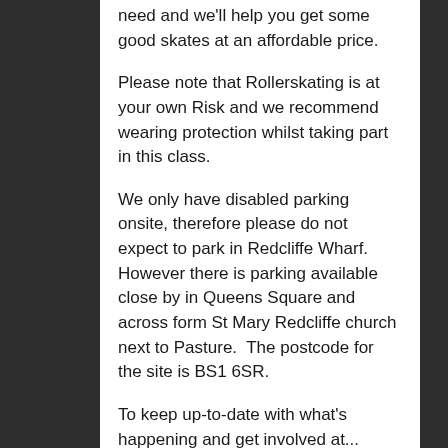need and we'll help you get some good skates at an affordable price.
Please note that Rollerskating is at your own Risk and we recommend wearing protection whilst taking part in this class.
We only have disabled parking onsite, therefore please do not expect to park in Redcliffe Wharf.  However there is parking available close by in Queens Square and across form St Mary Redcliffe church next to Pasture.  The postcode for the site is BS1 6SR.
To keep up-to-date with what's happening and get involved at...
BUMP Rollerdisco Website